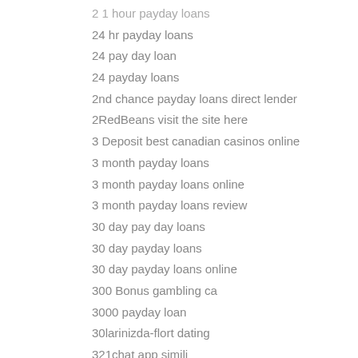2 1 hour payday loans
24 hr payday loans
24 pay day loan
24 payday loans
2nd chance payday loans direct lender
2RedBeans visit the site here
3 Deposit best canadian casinos online
3 month payday loans
3 month payday loans online
3 month payday loans review
30 day pay day loans
30 day payday loans
30 day payday loans online
300 Bonus gambling ca
3000 payday loan
30larinizda-flort dating
321chat app simili
321Chat criticas
321chat cs reviews